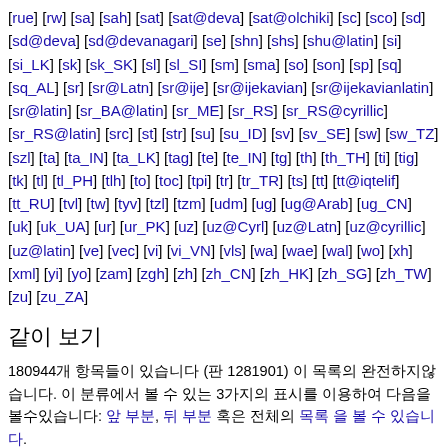[rue] [rw] [sa] [sah] [sat] [sat@deva] [sat@olchiki] [sc] [sco] [sd] [sd@deva] [sd@devanagari] [se] [shn] [shs] [shu@latin] [si] [si_LK] [sk] [sk_SK] [sl] [sl_SI] [sm] [sma] [so] [son] [sp] [sq] [sq_AL] [sr] [sr@Latn] [sr@ije] [sr@ijekavian] [sr@ijekavianlatin] [sr@latin] [sr_BA@latin] [sr_ME] [sr_RS] [sr_RS@cyrillic] [sr_RS@latin] [src] [st] [str] [su] [su_ID] [sv] [sv_SE] [sw] [sw_TZ] [szl] [ta] [ta_IN] [ta_LK] [tag] [te] [te_IN] [tg] [th] [th_TH] [ti] [tig] [tk] [tl] [tl_PH] [tlh] [to] [toc] [tpi] [tr] [tr_TR] [ts] [tt] [tt@iqtelif] [tt_RU] [tvl] [tw] [tyv] [tzl] [tzm] [udm] [ug] [ug@Arab] [ug_CN] [uk] [uk_UA] [ur] [ur_PK] [uz] [uz@Cyrl] [uz@Latn] [uz@cyrillic] [uz@latin] [ve] [vec] [vi] [vi_VN] [vls] [wa] [wae] [wal] [wo] [xh] [xml] [yi] [yo] [zam] [zgh] [zh] [zh_CN] [zh_HK] [zh_SG] [zh_TW] [zu] [zu_ZA]
같이 보기
180944개 항목들이 있습니다 (판 1281901) 이 목록의 완전하지않습니다. 이 분류에서 볼 수 있는 3가지의 표시를 이용하여 다음을 볼수있습니다: 앞 부분, 뒤 부분 혹은 전체의 목록 을 볼 수 있습니다.